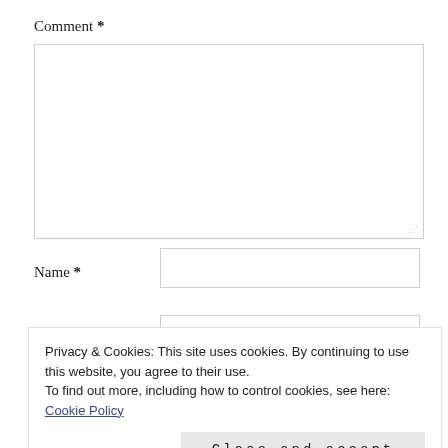Comment *
[Figure (screenshot): Empty comment textarea input field with resize handle]
Name *
[Figure (screenshot): Empty name text input field]
Privacy & Cookies: This site uses cookies. By continuing to use this website, you agree to their use.
To find out more, including how to control cookies, see here: Cookie Policy

Close and accept
Save my name, email, and website in this browser for